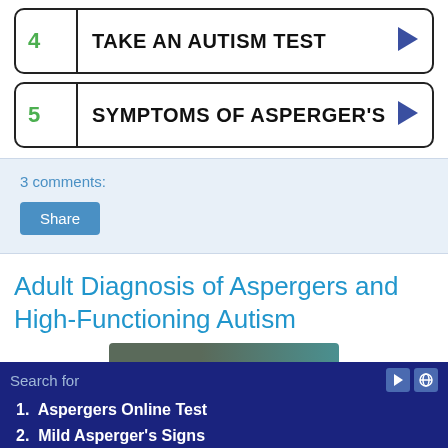4 TAKE AN AUTISM TEST
5 SYMPTOMS OF ASPERGER'S
3 comments:
Share
Adult Diagnosis of Aspergers and High-Functioning Autism
[Figure (photo): Partial photo of a person visible at the bottom of the page]
Search for
1.  Aspergers Online Test
2.  Mild Asperger's Signs